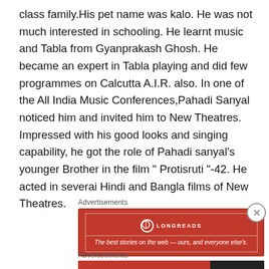class family.His pet name was kalo. He was not much interested in schooling. He learnt music and Tabla from Gyanprakash Ghosh. He became an expert in Tabla playing and did few programmes on Calcutta A.I.R. also. In one of the All India Music Conferences,Pahadi Sanyal noticed him and invited him to New Theatres. Impressed with his good looks and singing capability, he got the role of Pahadi sanyal's younger Brother in the film " Protisruti "-42. He acted in severai Hindi and Bangla films of New Theatres.
Advertisements
[Figure (other): Longreads advertisement banner: red background with Longreads logo and tagline 'The best stories on the web — ours, and everyone else's.']
Advertisements
[Figure (other): DuckDuckGo advertisement: red background with text 'Search, browse, and email with more privacy. All in One Free App' and DuckDuckGo logo on dark right panel.]